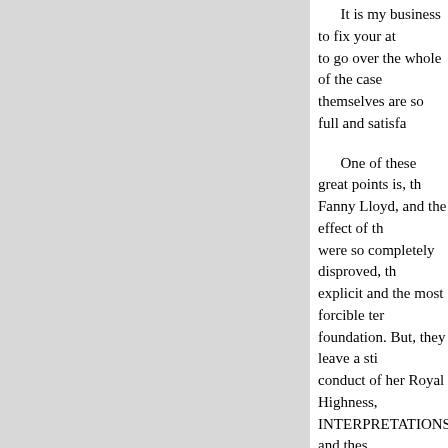It is my business to fix your at to go over the whole of the case themselves are so full and satisfa
One of these great points is, th Fanny Lloyd, and the effect of th were so completely disproved, th explicit and the most forcible ter foundation. But, they leave a sti conduct of her Royal Highness, INTERPRETATIONS;" and thes Cole, Fanny Lloyd and Mrs. Lisl
Here, then, we see Fanny Lloy blown, at once into the dark regi and Edmeades, the facts stated b worthy of your most careful atte Fanny Lloyd; and, as you are ab you will observe, on the 12th of 14th it was" of an unfavourable b this respect, we have seen was a appears from the Report, Fanny where, THAT THAT DECLARA BY MR. MILLS AND MR. EDM